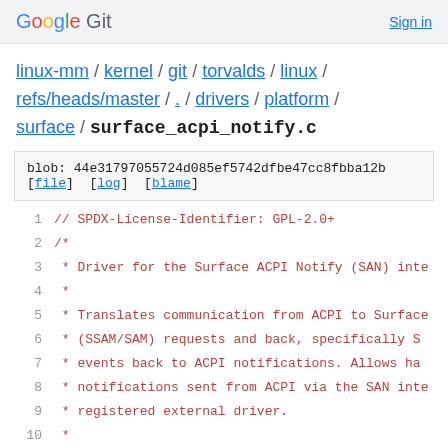Google Git  Sign in
linux-mm / kernel / git / torvalds / linux / refs/heads/master / . / drivers / platform / surface / surface_acpi_notify.c
blob: 44e31797055724d085ef5742dfbe47cc8fbba12b
[file] [log] [blame]
1   // SPDX-License-Identifier: GPL-2.0+
2   /*
3    * Driver for the Surface ACPI Notify (SAN) inte
4    *
5    * Translates communication from ACPI to Surface
6    * (SSAM/SAM) requests and back, specifically S
7    * events back to ACPI notifications. Allows ha
8    * notifications sent from ACPI via the SAN inte
9    * registered external driver.
10   *